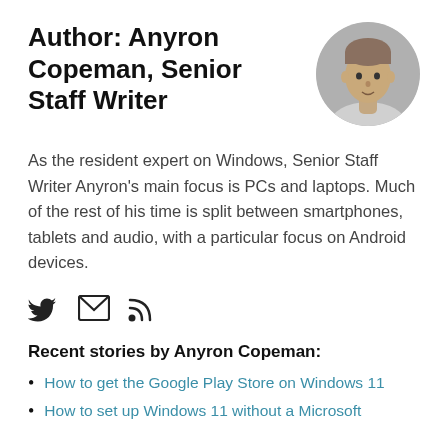Author: Anyron Copeman, Senior Staff Writer
[Figure (photo): Circular headshot photo of Anyron Copeman, a young man with short hair against a light grey background]
As the resident expert on Windows, Senior Staff Writer Anyron's main focus is PCs and laptops. Much of the rest of his time is split between smartphones, tablets and audio, with a particular focus on Android devices.
[Figure (infographic): Three social media icons: Twitter bird icon, envelope/email icon, and RSS feed icon]
Recent stories by Anyron Copeman:
How to get the Google Play Store on Windows 11
How to set up Windows 11 without a Microsoft